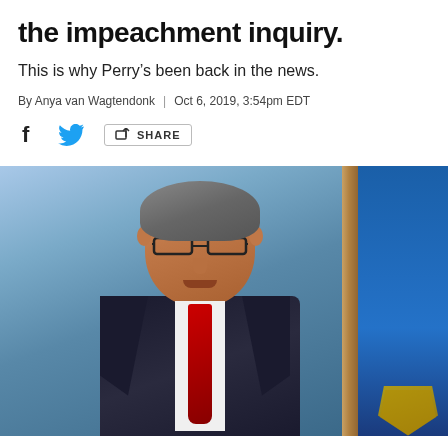the impeachment inquiry.
This is why Perry's been back in the news.
By Anya van Wagtendonk | Oct 6, 2019, 3:54pm EDT
[Figure (photo): Man in dark suit with red tie and glasses, sitting in a TV studio setting with blue background panels and wood-colored dividers.]